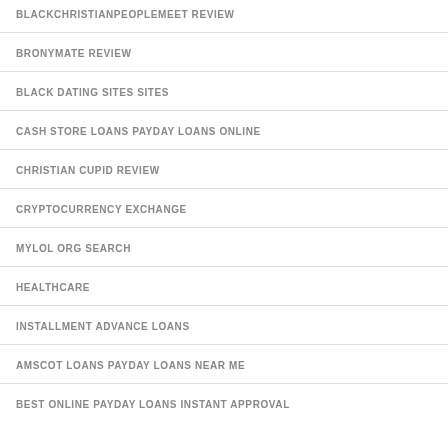BLACKCHRISTIANPEOPLEMEET REVIEW
BRONYMATE REVIEW
BLACK DATING SITES SITES
CASH STORE LOANS PAYDAY LOANS ONLINE
CHRISTIAN CUPID REVIEW
CRYPTOCURRENCY EXCHANGE
MYLOL ORG SEARCH
HEALTHCARE
INSTALLMENT ADVANCE LOANS
AMSCOT LOANS PAYDAY LOANS NEAR ME
BEST ONLINE PAYDAY LOANS INSTANT APPROVAL